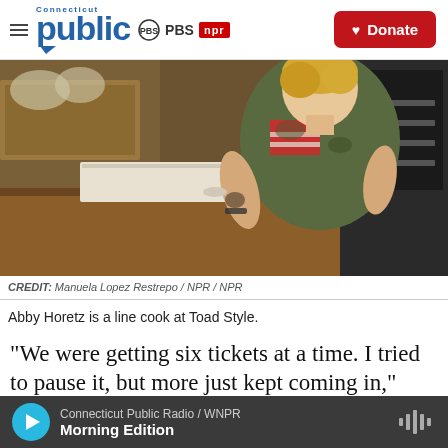Connecticut Public / PBS / NPR | Donate
[Figure (photo): A person with short blonde hair wearing a camouflage and American flag t-shirt with tattoos on their arms, working as a line cook behind a restaurant counter with kitchen equipment visible]
CREDIT: Manuela Lopez Restrepo / NPR / NPR
Abby Horetz is a line cook at Toad Style.
"We were getting six tickets at a time. I tried to pause it, but more just kept coming in,"
Connecticut Public Radio / WNPR | Morning Edition